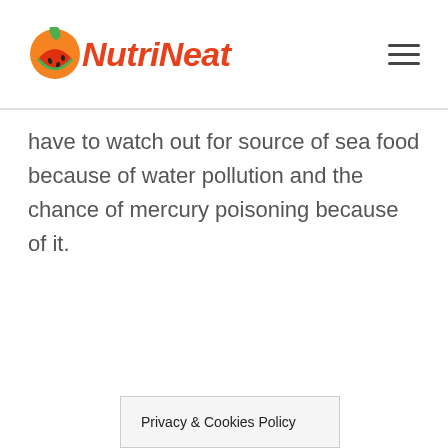NutriNeat
have to watch out for source of sea food because of water pollution and the chance of mercury poisoning because of it.
Privacy & Cookies Policy